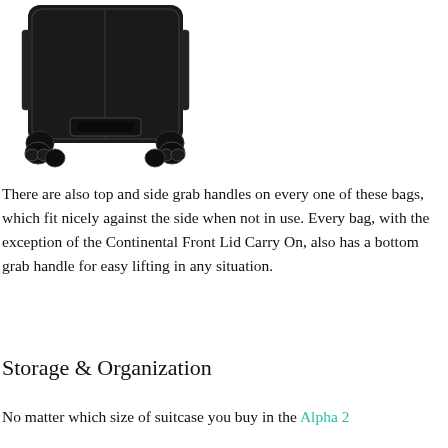[Figure (photo): Bottom view of a black hard-shell suitcase with spinner wheels, showing the underside with four dual-spinner wheels and a bottom grab handle.]
There are also top and side grab handles on every one of these bags, which fit nicely against the side when not in use. Every bag, with the exception of the Continental Front Lid Carry On, also has a bottom grab handle for easy lifting in any situation.
Storage & Organization
No matter which size of suitcase you buy in the Alpha 2